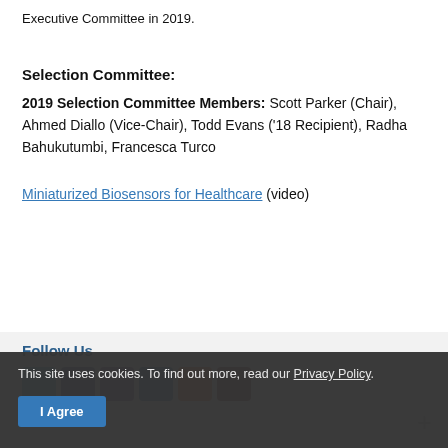Executive Committee in 2019.
Selection Committee:
2019 Selection Committee Members: Scott Parker (Chair), Ahmed Diallo (Vice-Chair), Todd Evans ('18 Recipient), Radha Bahukutumbi, Francesca Turco
Miniaturized Biosensors for Healthcare (video)
Follow Us
This site uses cookies. To find out more, read our Privacy Policy.
I Agree